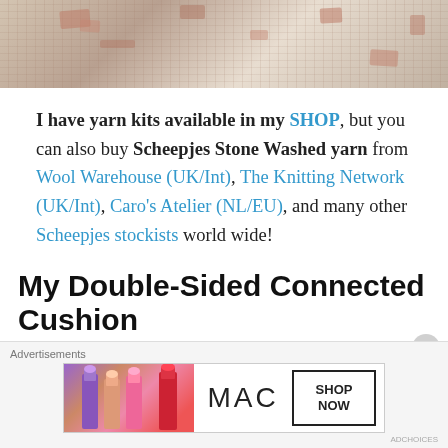[Figure (photo): Top portion of a photo showing a weathered painted wooden surface, partially cropped at the top of the page]
I have yarn kits available in my SHOP, but you can also buy Scheepjes Stone Washed yarn from Wool Warehouse (UK/Int), The Knitting Network (UK/Int), Caro’s Atelier (NL/EU), and many other Scheepjes stockists world wide!
My Double-Sided Connected Cushion
[Figure (photo): MAC cosmetics advertisement banner showing lipsticks and MAC logo with SHOP NOW button]